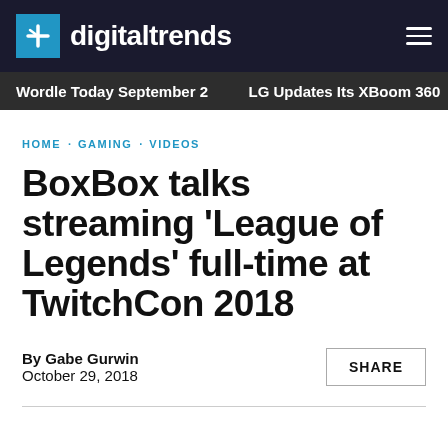digitaltrends
Wordle Today September 2  LG Updates Its XBoom 360  TC
HOME · GAMING · VIDEOS
BoxBox talks streaming 'League of Legends' full-time at TwitchCon 2018
By Gabe Gurwin
October 29, 2018
SHARE